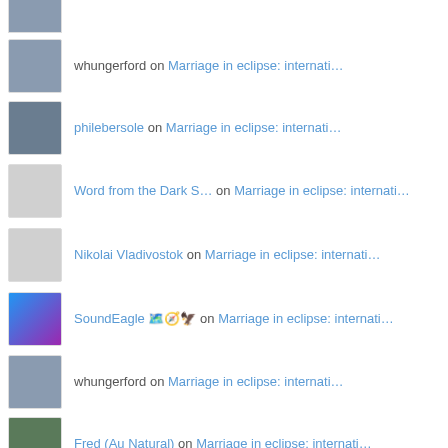whungerford on Marriage in eclipse: internati…
philebersole on Marriage in eclipse: internati…
Word from the Dark S… on Marriage in eclipse: internati…
Nikolai Vladivostok on Marriage in eclipse: internati…
SoundEagle 🗺️ on Marriage in eclipse: internati…
whungerford on Marriage in eclipse: internati…
Fred (Au Natural) on Marriage in eclipse: internati…
silverapplequeen on How Covid-impaired is the US g…